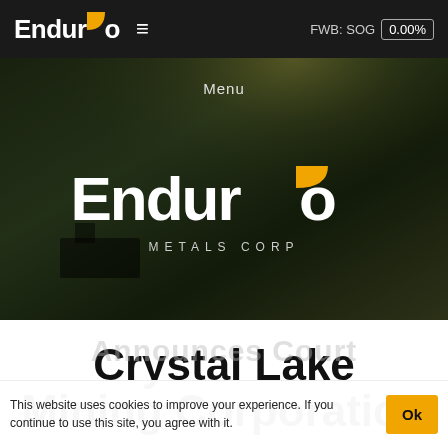Enduro ≡ FWB: SOG 0.00%
[Figure (screenshot): Hero banner showing Enduro Metals Corp logo over aerial forest/mountain landscape with 'Menu' label at top]
Crystal Lake Mining Corporation
Announces Court
This website uses cookies to improve your experience. If you continue to use this site, you agree with it.